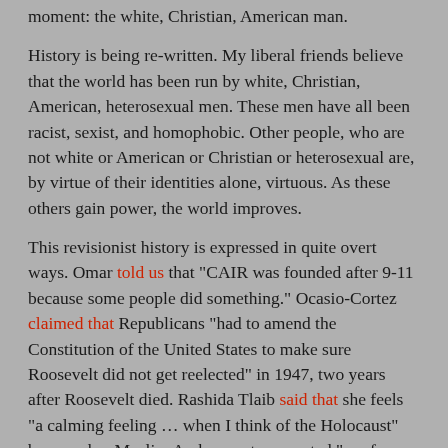moment: the white, Christian, American man.
History is being re-written. My liberal friends believe that the world has been run by white, Christian, American, heterosexual men. These men have all been racist, sexist, and homophobic. Other people, who are not white or American or Christian or heterosexual are, by virtue of their identities alone, virtuous. As these others gain power, the world improves.
This revisionist history is expressed in quite overt ways. Omar told us that "CAIR was founded after 9-11 because some people did something." Ocasio-Cortez claimed that Republicans "had to amend the Constitution of the United States to make sure Roosevelt did not get reelected" in 1947, two years after Roosevelt died. Rashida Tlaib said that she feels "a calming feeling … when I think of the Holocaust" because her Muslim Arab ancestors created "a safe haven for Jews."
The entertainment industry has gotten the revisionist message, as have reviewers. Two very good recent films, Green Book and The Best of Enemies, were lambasted as "white savior" movies. Both films are based on real events from decades ago. The main